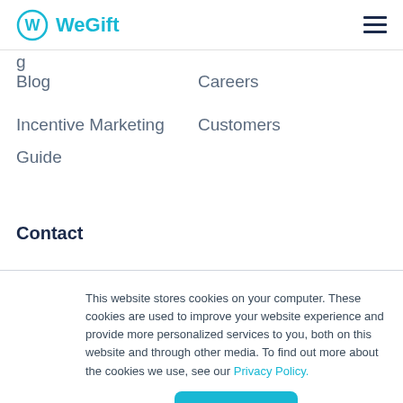WeGift
Blog
Careers
Incentive Marketing Guide
Customers
Contact
This website stores cookies on your computer. These cookies are used to improve your website experience and provide more personalized services to you, both on this website and through other media. To find out more about the cookies we use, see our Privacy Policy.
Okay